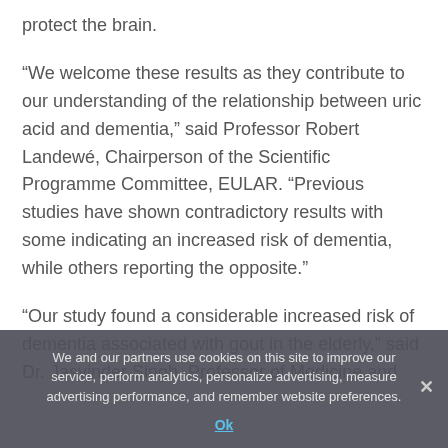protect the brain.
“We welcome these results as they contribute to our understanding of the relationship between uric acid and dementia,” said Professor Robert Landewé, Chairperson of the Scientific Programme Committee, EULAR. “Previous studies have shown contradictory results with some indicating an increased risk of dementia, while others reporting the opposite.”
“Our study found a considerable increased risk of dementia associated with gout in the elderly,” said Dr. Jasvinder Singh, Professor of Medicine and
We and our partners use cookies on this site to improve our service, perform analytics, personalize advertising, measure advertising performance, and remember website preferences.